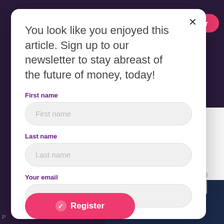[Figure (screenshot): Dark purple website background with navigation bar showing hamburger menu and Register button in pink/red]
You look like you enjoyed this article. Sign up to our newsletter to stay abreast of the future of money, today!
First name
First name
Last name
Last name
Your email
Email address
Register